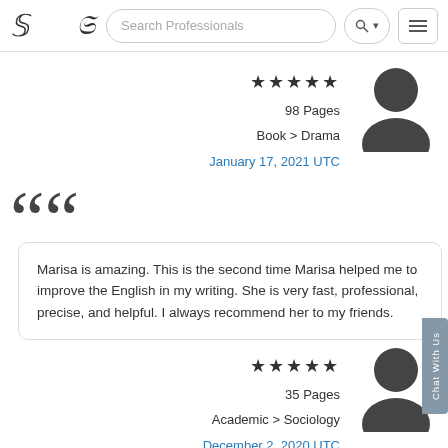Search Professionals
★★★★★
98 Pages
Book > Drama
January 17, 2021 UTC
Marisa is amazing. This is the second time Marisa helped me to improve the English in my writing. She is very fast, professional, precise, and helpful. I always recommend her to my friends.
★★★★★
35 Pages
Academic > Sociology
December 2, 2020 UTC